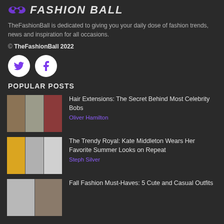FASHION BALL
TheFashionBall is dedicated to giving you your daily dose of fashion trends, news and inspiration for all occasions.
© TheFashionBall 2022
[Figure (logo): Twitter and Facebook social media icon circles]
POPULAR POSTS
[Figure (photo): Three celebrity women with different hairstyles]
Hair Extensions: The Secret Behind Most Celebrity Bobs
Oliver Hamilton
[Figure (photo): Three women in colorful outfits including yellow dress]
The Trendy Royal: Kate Middleton Wears Her Favorite Summer Looks on Repeat
Steph Silver
[Figure (photo): Street fashion photo]
Fall Fashion Must-Haves: 5 Cute and Casual Outfits